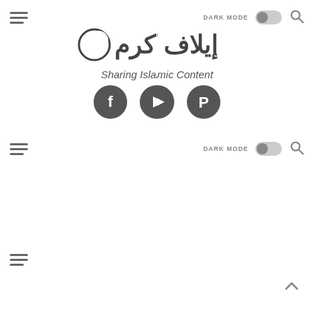[Figure (screenshot): Website navigation bar with hamburger menu icon on the left, DARK MODE toggle in the center-right, and search icon on the far right.]
[Figure (logo): Website logo showing a crescent/circle icon followed by Arabic text spelling out the site name.]
Sharing Islamic Content
[Figure (illustration): Three circular social media icons: Facebook, YouTube, and Pinterest, all in dark gray.]
[Figure (screenshot): Second navigation bar (duplicate) with hamburger menu, DARK MODE toggle, and search icon.]
[Figure (screenshot): Third navigation bar (duplicate) with hamburger menu icon only visible on the left.]
[Figure (illustration): Back to top arrow chevron icon in the bottom-right corner.]